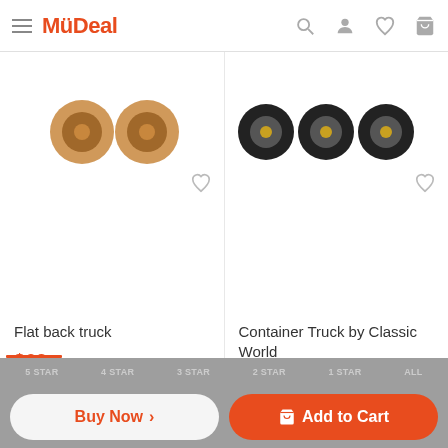MyDeal
[Figure (photo): Flat back truck product image (wooden toy truck wheels visible from above)]
[Figure (photo): Container Truck by Classic World product image (black rubber wheels visible)]
Flat back truck
$69
Container Truck by Classic World
$41.65
Reviews (2)
Add Review
Buy Now
Add to Cart
5 STAR  4 STAR  3 STAR  2 STAR  1 STAR  ALL